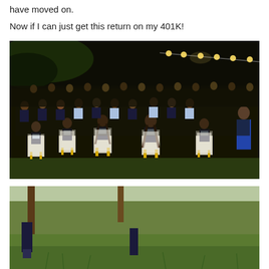have moved on.
Now if I can just get this return on my 401K!
[Figure (photo): Large group of children in school uniforms (dark navy vests, light blue shirts, ties) seated on white chairs with yellow legs at an outdoor nighttime ceremony or graduation event. String lights are visible overhead. Adults and additional attendees visible in the background.]
[Figure (photo): Partial view of an outdoor grassy area, bottom portion of the second photo, showing grass and partial figures, taken in daytime.]